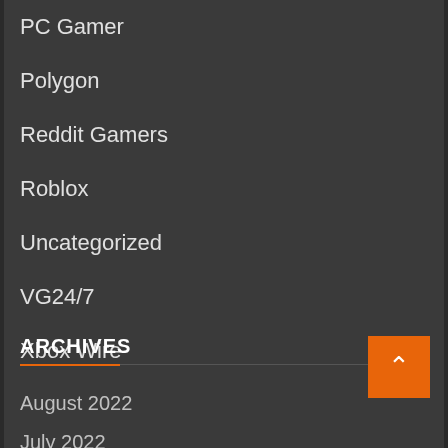PC Gamer
Polygon
Reddit Gamers
Roblox
Uncategorized
VG24/7
Xbox Wire
ARCHIVES
August 2022
July 2022